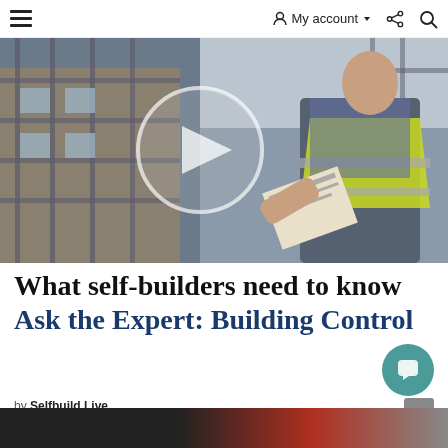≡  My account ▾  ⁒  🔍
[Figure (photo): A man wearing a high-visibility yellow vest and checked shirt holding a clipboard or document, standing in front of scaffolding at a construction site. A video play button (circle with triangle) is overlaid on the image.]
What self-builders need to know
Ask the Expert: Building Control
by Selfbuild Live
2 years ago